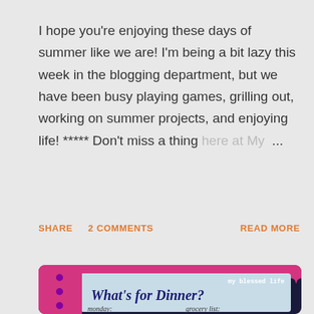I hope you're enjoying these days of summer like we are! I'm being a bit lazy this week in the blogging department, but we have been busy playing games, grilling out, working on summer projects, and enjoying life! ***** Don't miss a thing here at My ...
SHARE   2 COMMENTS   READ MORE
[Figure (photo): A decorative meal planning board titled 'What's for Dinner?' with pink scalloped border, showing days of the week (monday, tuesday, wednesday) and a grocery list section. Branded 'my blessed life' in white text at top right.]